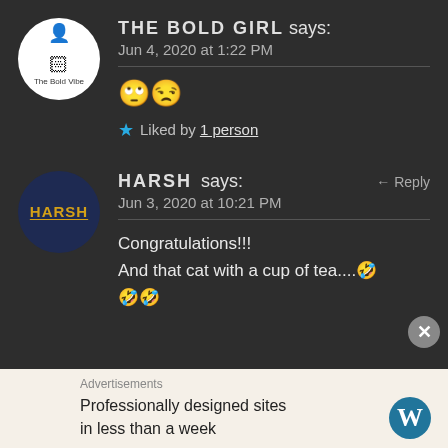THE BOLD GIRL says: Jun 4, 2020 at 1:22 PM
🙄😒
★ Liked by 1 person
HARSH says: Jun 3, 2020 at 10:21 PM ← Reply
Congratulations!!!
And that cat with a cup of tea....🤣🤣🤣
Advertisements
Professionally designed sites in less than a week